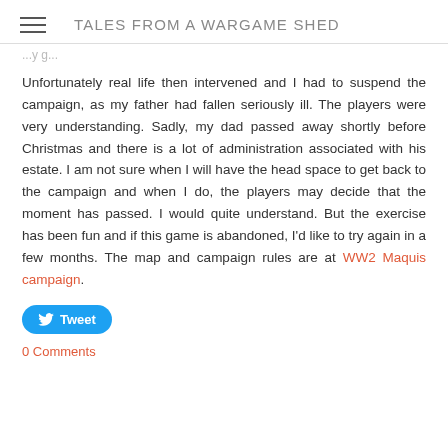TALES FROM A WARGAME SHED
Unfortunately real life then intervened and I had to suspend the campaign, as my father had fallen seriously ill. The players were very understanding. Sadly, my dad passed away shortly before Christmas and there is a lot of administration associated with his estate. I am not sure when I will have the head space to get back to the campaign and when I do, the players may decide that the moment has passed. I would quite understand. But the exercise has been fun and if this game is abandoned, I'd like to try again in a few months. The map and campaign rules are at WW2 Maquis campaign.
Tweet
0 Comments